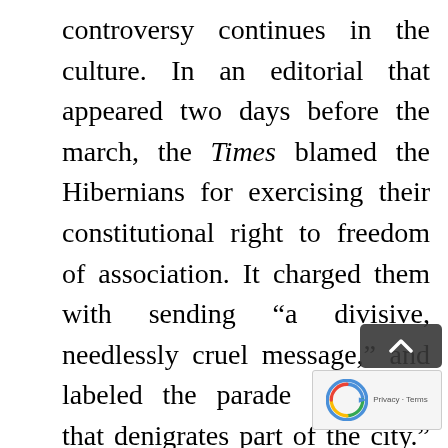controversy continues in the culture. In an editorial that appeared two days before the march, the Times blamed the Hibernians for exercising their constitutional right to freedom of association. It charged them with sending “a divisive, needlessly cruel message,” and labeled the parade “an event that denigrates part of the city.” The Times implored all politicians not to march in “this benighted display of bigotry.”

Well, well. Now that’s anger for you. The normally staid Ivy Leaguers at the New York Times don’t like it when Irish Catholics